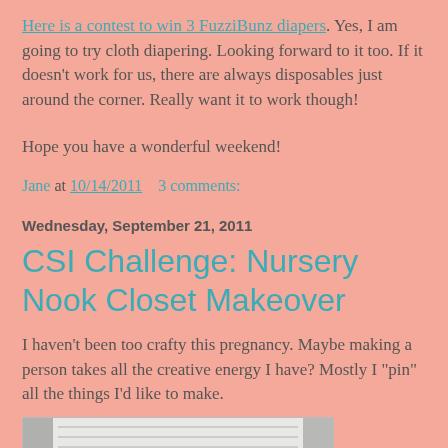Here is a contest to win 3 FuzziBunz diapers. Yes, I am going to try cloth diapering. Looking forward to it too. If it doesn't work for us, there are always disposables just around the corner. Really want it to work though!
Hope you have a wonderful weekend!
Jane at 10/14/2011    3 comments:
Wednesday, September 21, 2011
CSI Challenge: Nursery Nook Closet Makeover
I haven't been too crafty this pregnancy. Maybe making a person takes all the creative energy I have? Mostly I "pin" all the things I'd like to make.
[Figure (photo): Partial photo of a nursery closet makeover project, showing light-colored shelving or closet interior.]